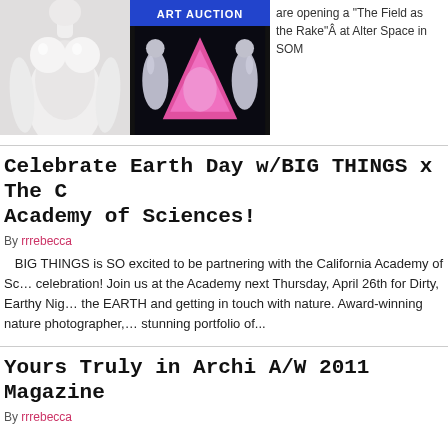[Figure (photo): White sculpture photo cropped at top]
[Figure (photo): Art Auction event image with pink triangle and silver-costumed performers]
are opening a "The Field as the Rake"Â at Alter Space in SOM
Celebrate Earth Day w/BIG THINGS x The California Academy of Sciences!
By rrrebecca
BIG THINGS is SO excited to be partnering with the California Academy of Sciences for their Earth Day celebration! Join us at the Academy next Thursday, April 26th for Dirty, Earthy Night celebrating the EARTH and getting in touch with nature. Award-winning nature photographer, stunning portfolio of...
Yours Truly in Archi A/W 2011 Magazine
By rrrebecca